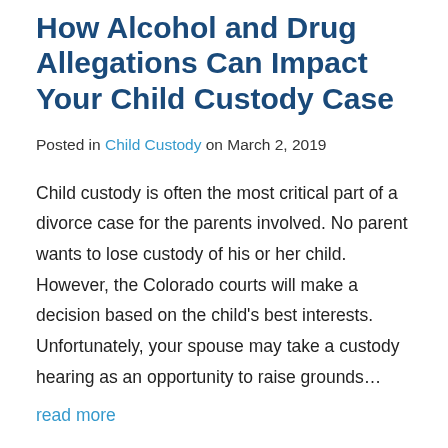How Alcohol and Drug Allegations Can Impact Your Child Custody Case
Posted in Child Custody on March 2, 2019
Child custody is often the most critical part of a divorce case for the parents involved. No parent wants to lose custody of his or her child. However, the Colorado courts will make a decision based on the child's best interests. Unfortunately, your spouse may take a custody hearing as an opportunity to raise grounds…
read more